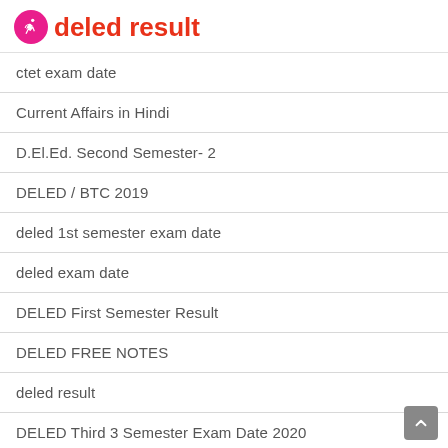deled result
ctet exam date
Current Affairs in Hindi
D.El.Ed. Second Semester- 2
DELED / BTC 2019
deled 1st semester exam date
deled exam date
DELED First Semester Result
DELED FREE NOTES
deled result
DELED Third 3 Semester Exam Date 2020
DIET Mathura